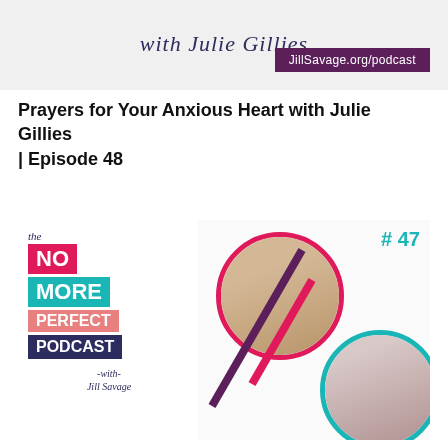[Figure (illustration): Top banner with script text 'with Julie Gillies' on a light gray background, and a dark purple badge reading 'JillSavage.org/podcast' on the right.]
Prayers for Your Anxious Heart with Julie Gillies | Episode 48
[Figure (illustration): Podcast cover art card for 'The No More Perfect Podcast with Jill Savage' showing episode #47. Contains stacked colored blocks with NO (red/pink), MORE (teal), PERFECT (salmon), PODCAST (dark navy) text. Two circular portrait photos of women with decorative slash lines in purple and pink.]